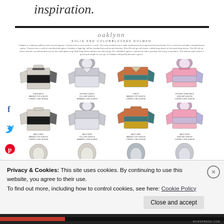inspiration.
[Figure (illustration): Oaklynn sewing pattern page showing a dolman pullover with multiple colorblocked and solid options. Eight sweater illustrations shown in two rows (front and back views) in various colorblock designs including crew neck, hooded v-neck, v-neck, and hooded crew neck styles.]
Oaklynn is a dolman pullover with several options. Choose from a crew neck or v neck. The crew neckline has a wide neckband and an optional hemmed hood. The v neck also includes a banded hood option. Choose from a solid or colorblocked option. Includes a high hip, full hip, banded hip and curved hemline. Plus 3/4 roll up cuff sleeve, cuffed long sleeve or hemmed long sleeve. The 3/4 roll up sleeve and the curved hemline are for the solid option only. Both long sleeve options are extra long. The colorblock option is perfect for fabric pairings and using scrap fabric. The dolman style makes it quick and simple to sew up, so Oaklynn will quickly become a go-to!
Privacy & Cookies: This site uses cookies. By continuing to use this website, you agree to their use.
To find out more, including how to control cookies, see here: Cookie Policy
Close and accept